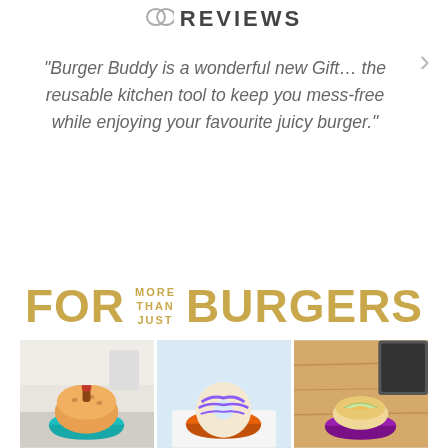REVIEWS
"Burger Buddy is a wonderful new Gift... the reusable kitchen tool to keep you mess-free while enjoying your favourite juicy burger."
FOR MORE THAN JUST BURGERS
[Figure (photo): Three photos showing colourful Burger Buddy holders (teal, orange, purple) each cradling different round food items on kitchen surfaces]